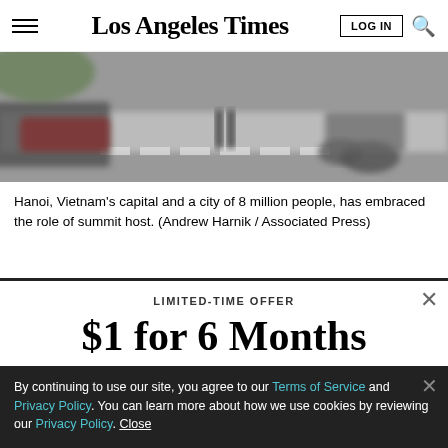Los Angeles Times
[Figure (photo): Blurred street scene in Hanoi showing motorcycles and pedestrians at a crosswalk]
Hanoi, Vietnam's capital and a city of 8 million people, has embraced the role of summit host. (Andrew Harnik / Associated Press)
LIMITED-TIME OFFER
$1 for 6 Months
SUBSCRIBE NOW
By continuing to use our site, you agree to our Terms of Service and Privacy Policy. You can learn more about how we use cookies by reviewing our Privacy Policy. Close